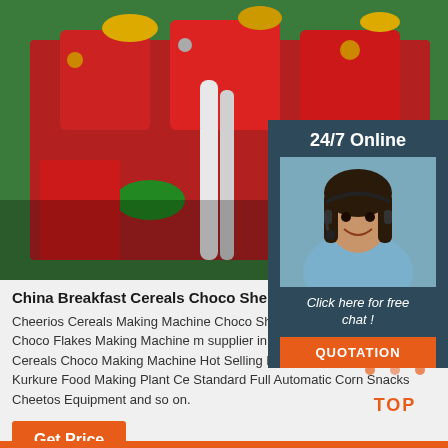[Figure (photo): Close-up photo of colorful industrial food-making machine parts in red, green, and yellow]
China Breakfast Cereals Choco Shell Food Mak
Cheerios Cereals Making Machine Choco Shell Food Making Machine Cereals Choco Flakes Making Machine manufacturer / supplier in China offering Breakfast Cereals Choco Shell Making Machine Hot Selling Full Automatic Corn Snacks Kurkure Food Making Plant Ce Standard Full Automatic Corn Snacks Cheetos Equipment and so on.
Get Price